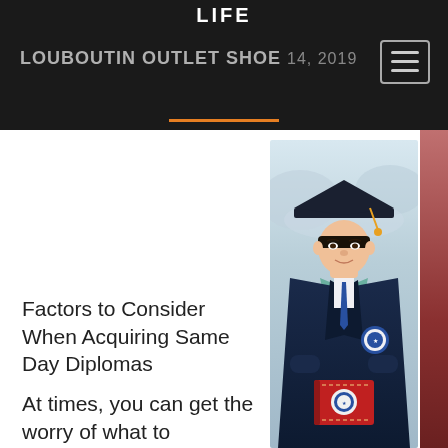LIFE
LOUBOUTIN OUTLET SHOE  14, 2019
Factors to Consider When Acquiring Same Day Diplomas
At times, you can get the worry of what to
[Figure (photo): A young man in graduation cap and gown holding a red diploma folder, smiling at camera, blurred outdoor background]